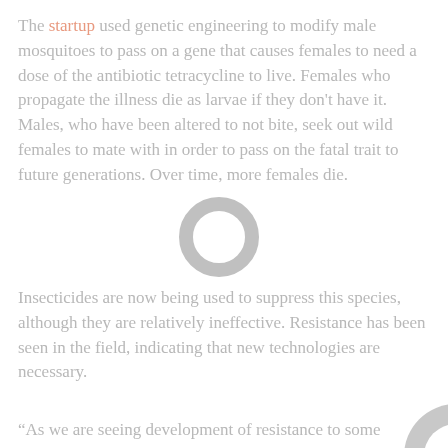The startup used genetic engineering to modify male mosquitoes to pass on a gene that causes females to need a dose of the antibiotic tetracycline to live. Females who propagate the illness die as larvae if they don't have it. Males, who have been altered to not bite, seek out wild females to mate with in order to pass on the fatal trait to future generations. Over time, more females die.
[Figure (other): Grey donut/ring shape decorative element overlapping the first paragraph]
Insecticides are now being used to suppress this species, although they are relatively ineffective. Resistance has been seen in the field, indicating that new technologies are necessary.
[Figure (other): Partial grey circle decorative element at bottom right corner]
“As we are seeing development of resistance to some